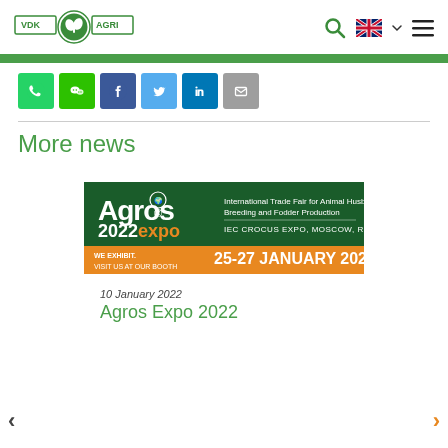[Figure (logo): VDK AGRI logo with green plant icon]
[Figure (infographic): Social share buttons: WhatsApp, WeChat, Facebook, Twitter, LinkedIn, Email]
More news
[Figure (infographic): Agros 2022 Expo banner — International Trade Fair for Animal Husbandry, Breeding and Fodder Production. IEC CROCUS EXPO, MOSCOW, RUSSIA. WE EXHIBIT. VISIT US AT OUR BOOTH. 25-27 JANUARY 2022]
10 January 2022
Agros Expo 2022